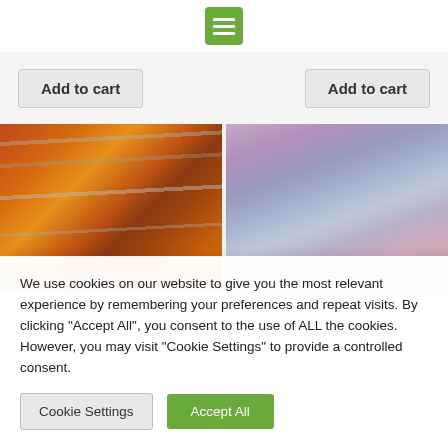[Figure (other): Green hamburger menu icon button centered in top navigation bar]
Add to cart
Add to cart
[Figure (photo): Painting of birch trees with autumn orange and red foliage]
[Figure (photo): Abstract painting with soft purple, pink, blue and grey colors]
We use cookies on our website to give you the most relevant experience by remembering your preferences and repeat visits. By clicking "Accept All", you consent to the use of ALL the cookies. However, you may visit "Cookie Settings" to provide a controlled consent.
Cookie Settings
Accept All